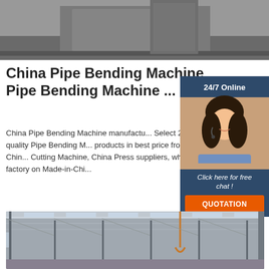[Figure (photo): Top portion of a metal/industrial machine or structure, gray tones, partial view]
China Pipe Bending Machine Pipe Bending Machine ...
China Pipe Bending Machine manufacturers - Select 2021 high quality Pipe Bending Machine products in best price from certified China Cutting Machine, China Press suppliers, wholesalers and factory on Made-in-Chi...
[Figure (photo): Chat widget with 24/7 Online label, woman with headset, Click here for free chat!, QUOTATION button]
[Figure (photo): Get Price green button]
[Figure (photo): Interior of a large industrial warehouse with steel roof structure, skylights, and a crane hook visible]